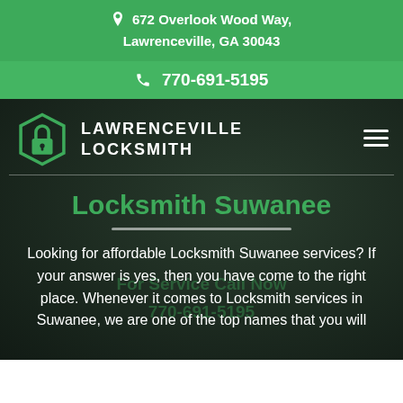672 Overlook Wood Way, Lawrenceville, GA 30043
770-691-5195
[Figure (logo): Lawrenceville Locksmith logo with padlock icon and text]
Locksmith Suwanee
Looking for affordable Locksmith Suwanee services? If your answer is yes, then you have come to the right place. Whenever it comes to Locksmith services in Suwanee, we are one of the top names that you will